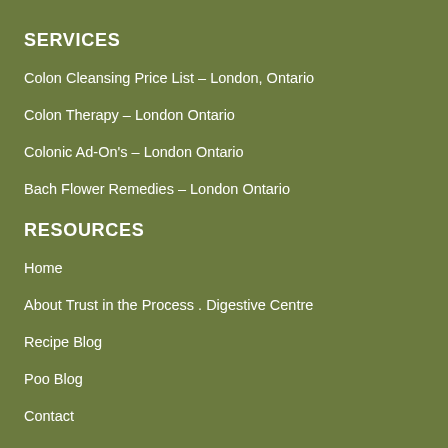SERVICES
Colon Cleansing Price List – London, Ontario
Colon Therapy – London Ontario
Colonic Ad-On's – London Ontario
Bach Flower Remedies – London Ontario
RESOURCES
Home
About Trust in the Process . Digestive Centre
Recipe Blog
Poo Blog
Contact